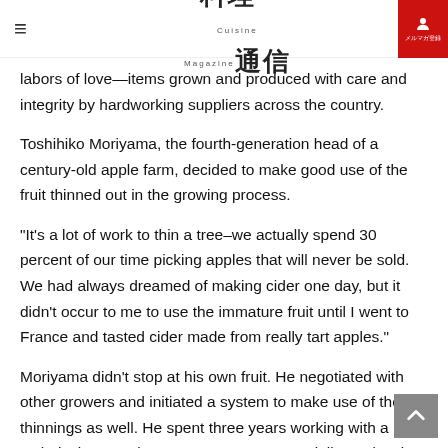料理通信
labors of love—items grown and produced with care and integrity by hardworking suppliers across the country.
Toshihiko Moriyama, the fourth-generation head of a century-old apple farm, decided to make good use of the fruit thinned out in the growing process.
“It’s a lot of work to thin a tree–we actually spend 30 percent of our time picking apples that will never be sold. We had always dreamed of making cider one day, but it didn’t occur to me to use the immature fruit until I went to France and tasted cider made from really tart apples.”
Moriyama didn’t stop at his own fruit. He negotiated with other growers and initiated a system to make use of their thinnings as well. He spent three years working with a technical research center yeast specialist to develop processing methods and the optim recipe.